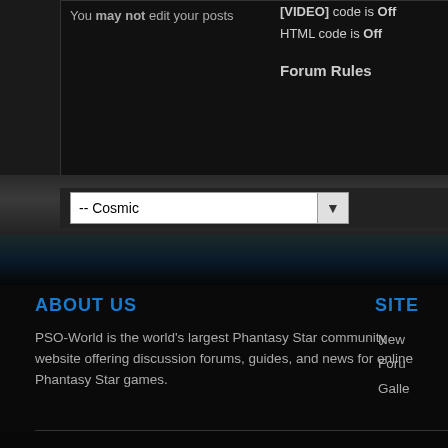You may not edit your posts
[VIDEO] code is Off
HTML code is Off
Forum Rules
[Figure (screenshot): Dropdown selector showing '-- Cosmic' option with arrow indicator]
ABOUT US
PSO-World is the world's largest Phantasy Star community website offering discussion forums, guides, and news for online Phantasy Star games.
SITE
News
Foru...
Galle...